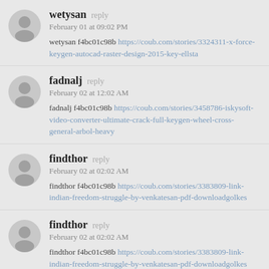wetysan reply
February 01 at 09:02 PM
wetysan f4bc01c98b https://coub.com/stories/3324311-x-force-keygen-autocad-raster-design-2015-key-ellsta
fadnalj reply
February 02 at 12:02 AM
fadnalj f4bc01c98b https://coub.com/stories/3458786-iskysoft-video-converter-ultimate-crack-full-keygen-wheel-cross-general-arbol-heavy
findthor reply
February 02 at 02:02 AM
findthor f4bc01c98b https://coub.com/stories/3383809-link-indian-freedom-struggle-by-venkatesan-pdf-downloadgolkes
findthor reply
February 02 at 02:02 AM
findthor f4bc01c98b https://coub.com/stories/3383809-link-indian-freedom-struggle-by-venkatesan-pdf-downloadgolkes